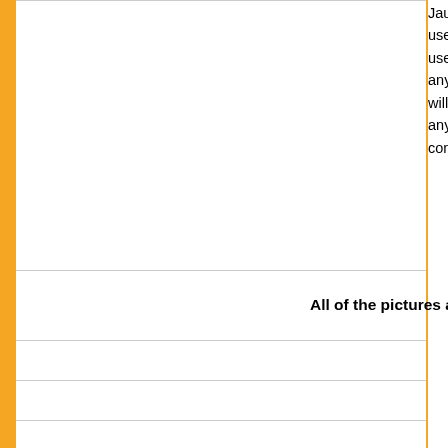Jaunzemis, Aquatic Glassel or any... use, distribute, copy, reproduce, ma... use in our discretion as we need. anything. Our intentions are to crea... will spawn an idea for you to have ... anything for you that is one of a kin... concept in any way shape or form.
To read all company
P
All of the pictures and content are copy...
E
Effective r...
Has anyone ever to...
US patent num...
Moderustic® is p... and 1 Patent pending sta...